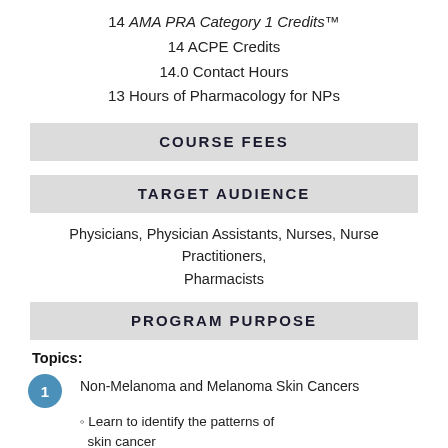14 AMA PRA Category 1 Credits™
14 ACPE Credits
14.0 Contact Hours
13 Hours of Pharmacology for NPs
COURSE FEES
TARGET AUDIENCE
Physicians, Physician Assistants, Nurses, Nurse Practitioners, Pharmacists
PROGRAM PURPOSE
Topics:
Non-Melanoma and Melanoma Skin Cancers
Learn to identify the patterns of skin cancer